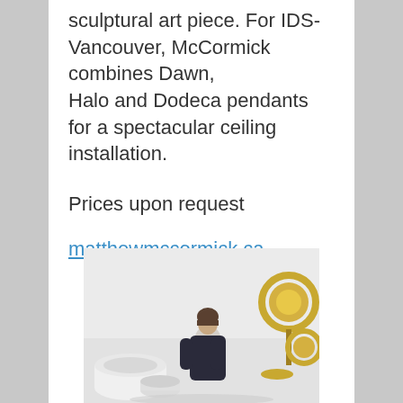sculptural art piece. For IDS-Vancouver, McCormick combines Dawn, Halo and Dodeca pendants for a spectacular ceiling installation.
Prices upon request
matthewmccormick.ca
***
[Figure (photo): Photo of a man (Matthew McCormick) sitting among sculptural lighting pieces — white cylindrical and disc-shaped objects on the left, and gold/brass circular pendant lamps on the right, against a white background.]